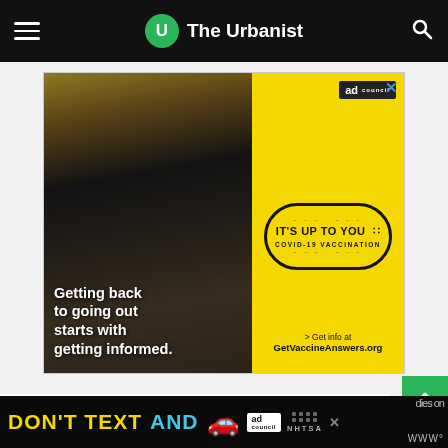The Urbanist
[Figure (photo): Ad Council COVID-19 vaccination advertisement: 'Getting back to going out starts with getting informed.' with yellow background and IT'S UP TO YOU branding. Get info at GetVaccineAnswers.org]
[Figure (photo): NHTSA 'DON'T TEXT AND DRIVE' banner advertisement with car emoji and ad council badge]